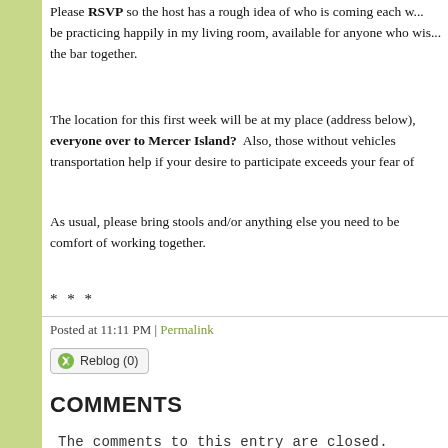Please RSVP so the host has a rough idea of who is coming each w... be practicing happily in my living room, available for anyone who wis... the bar together.
The location for this first week will be at my place (address below), everyone over to Mercer Island? Also, those without vehicles transportation help if your desire to participate exceeds your fear of
As usual, please bring stools and/or anything else you need to be comfort of working together.
* * *
Posted at 11:11 PM | Permalink
Reblog (0)
COMMENTS
The comments to this entry are closed.
STEVE BALL      POWERED BY TYPEPAD